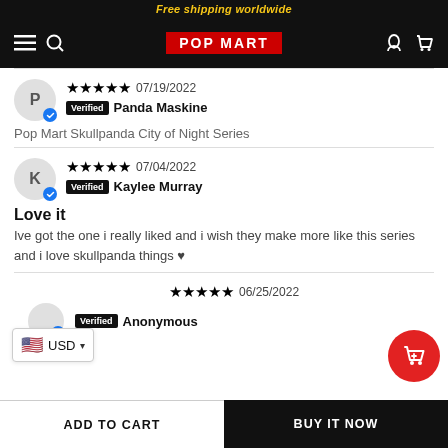Free shipping worldwide
[Figure (logo): POP MART logo in red rectangle on black navbar with hamburger menu, search, user and cart icons]
Review by Panda Maskine — 5 stars — 07/19/2022 — Verified — Pop Mart Skullpanda City of Night Series
Review by Kaylee Murray — 5 stars — 07/04/2022 — Verified — Love it — Ive got the one i really liked and i wish they make more like this series and i love skullpanda things ♥
Review by Anonymous — 5 stars — 06/25/2022 — Verified
ADD TO CART   BUY IT NOW